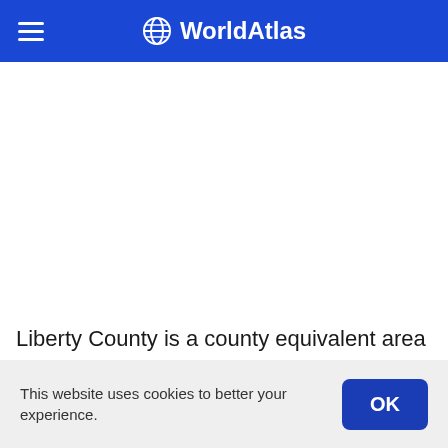WorldAtlas
[Figure (other): White content area, likely a map or image placeholder]
Liberty County is a county equivalent area found in Texas, USA. The county government of Liberty is
This website uses cookies to better your experience.